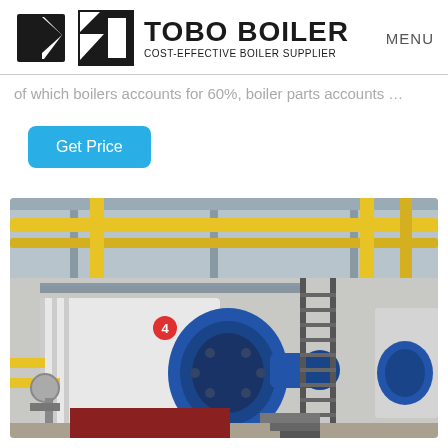TOBO BOILER — COST-EFFECTIVE BOILER SUPPLIER | MENU
of which boilers accounts for 60%, boiler parts accounts …
Get Price
[Figure (photo): Industrial boiler facility showing large blue gas-fired boilers with yellow pipework, metal staircases, and industrial equipment inside a factory building.]